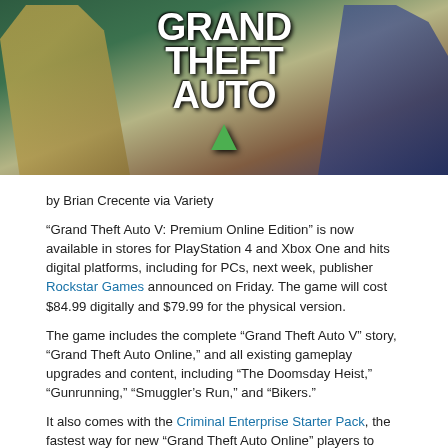[Figure (photo): Grand Theft Auto V promotional image showing three characters in costume with the GTA V logo prominently displayed in the center.]
by Brian Crecente via Variety
“Grand Theft Auto V: Premium Online Edition” is now available in stores for PlayStation 4 and Xbox One and hits digital platforms, including for PCs, next week, publisher Rockstar Games announced on Friday. The game will cost $84.99 digitally and $79.99 for the physical version.
The game includes the complete “Grand Theft Auto V” story, “Grand Theft Auto Online,” and all existing gameplay upgrades and content, including “The Doomsday Heist,” “Gunrunning,” “Smuggler’s Run,” and “Bikers.”
It also comes with the Criminal Enterprise Starter Pack, the fastest way for new “Grand Theft Auto Online” players to jumpstart their criminal empires with the most popular content, plus $1,000,000 bonus cash to spend in “Grand Theft Auto Online” — over $10,000,000 (GTA) in value.